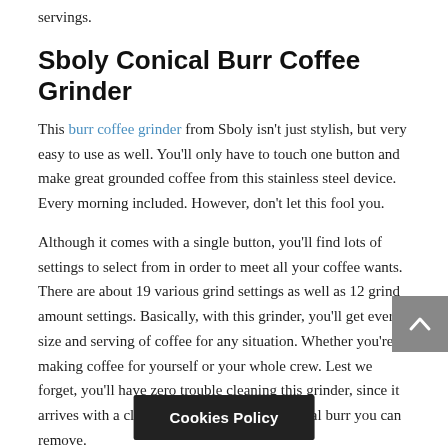servings.
Sboly Conical Burr Coffee Grinder
This burr coffee grinder from Sboly isn't just stylish, but very easy to use as well. You'll only have to touch one button and make great grounded coffee from this stainless steel device. Every morning included. However, don't let this fool you.
Although it comes with a single button, you'll find lots of settings to select from in order to meet all your coffee wants. There are about 19 various grind settings as well as 12 grind amount settings. Basically, with this grinder, you'll get every size and serving of coffee for any situation. Whether you're making coffee for yourself or your whole crew. Lest we forget, you'll have zero trouble cleaning this grinder, since it arrives with a cleaning brush and upper conical burr you can remove.
Breville the Smart Grinder Pro
Breville is a brand known for reg n almost-
Cookies Policy